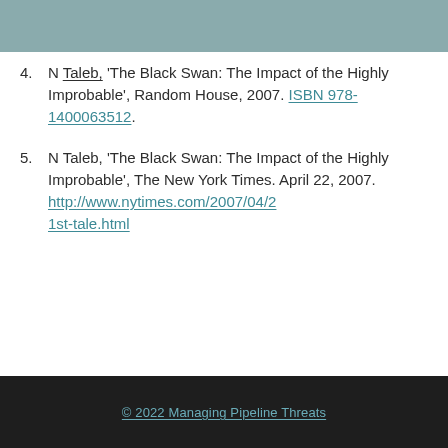4. N Taleb, 'The Black Swan: The Impact of the Highly Improbable', Random House, 2007. ISBN 978-1400063512.
5. N Taleb, 'The Black Swan: The Impact of the Highly Improbable', The New York Times. April 22, 2007. http://www.nytimes.com/2007/04/21st-tale.html
© 2022 Managing Pipeline Threats